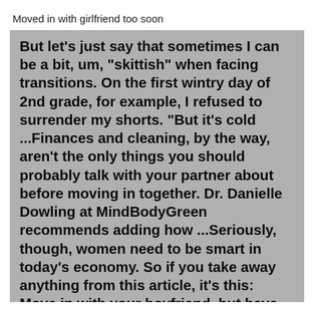Moved in with girlfriend too soon
But let's just say that sometimes I can be a bit, um, "skittish" when facing transitions. On the first wintry day of 2nd grade, for example, I refused to surrender my shorts. "But it's cold ...Finances and cleaning, by the way, aren't the only things you should probably talk with your partner about before moving in together. Dr. Danielle Dowling at MindBodyGreen recommends adding how ...Seriously, though, women need to be smart in today's economy. So if you take away anything from this article, it's this: Move in with your boyfriend, but have your own money set aside. You'll thank me later. I can't think of anything worse than breaking up with your live-in boyfriend and being unable to move because of your finances.Unless your assumptions are a perfect match for your partner's (not likely), they can create serious rifts when you begin living together. You and your